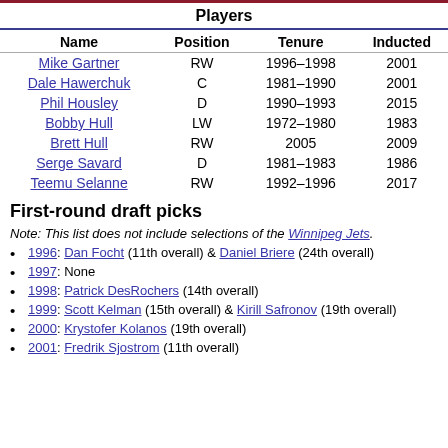| Name | Position | Tenure | Inducted |
| --- | --- | --- | --- |
| Mike Gartner | RW | 1996–1998 | 2001 |
| Dale Hawerchuk | C | 1981–1990 | 2001 |
| Phil Housley | D | 1990–1993 | 2015 |
| Bobby Hull | LW | 1972–1980 | 1983 |
| Brett Hull | RW | 2005 | 2009 |
| Serge Savard | D | 1981–1983 | 1986 |
| Teemu Selanne | RW | 1992–1996 | 2017 |
First-round draft picks
Note: This list does not include selections of the Winnipeg Jets.
1996: Dan Focht (11th overall) & Daniel Briere (24th overall)
1997: None
1998: Patrick DesRochers (14th overall)
1999: Scott Kelman (15th overall) & Kirill Safronov (19th overall)
2000: Krystofer Kolanos (19th overall)
2001: Fredrik Sjostrom (11th overall)